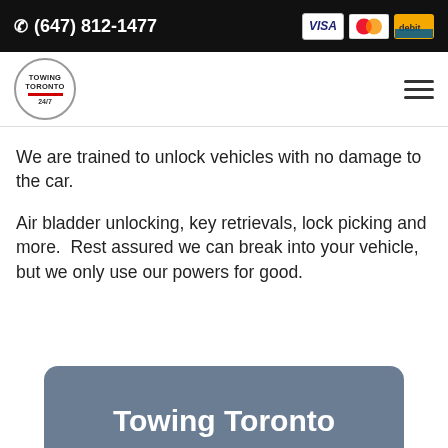(647) 812-1477
[Figure (logo): Towing Toronto 24/7 circular logo]
We are trained to unlock vehicles with no damage to the car.
Air bladder unlocking, key retrievals, lock picking and more.  Rest assured we can break into your vehicle, but we only use our powers for good.
Towing Toronto